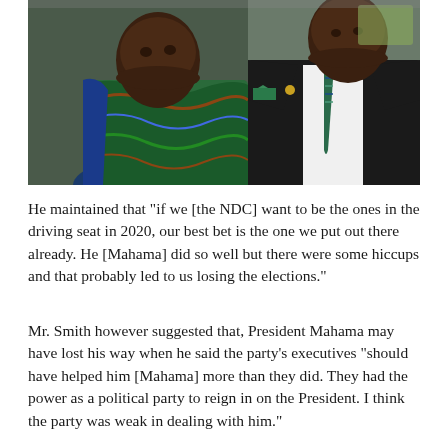[Figure (photo): Two men in conversation. The man on the left wears a colorful African print shirt with green, blue, and brown patterns. The man on the right wears a black suit with a green and blue patterned tie and a green pocket square.]
He maintained that “if we [the NDC] want to be the ones in the driving seat in 2020, our best bet is the one we put out there already. He [Mahama] did so well but there were some hiccups and that probably led to us losing the elections.”
Mr. Smith however suggested that, President Mahama may have lost his way when he said the party’s executives “should have helped him [Mahama] more than they did. They had the power as a political party to reign in on the President. I think the party was weak in dealing with him.”